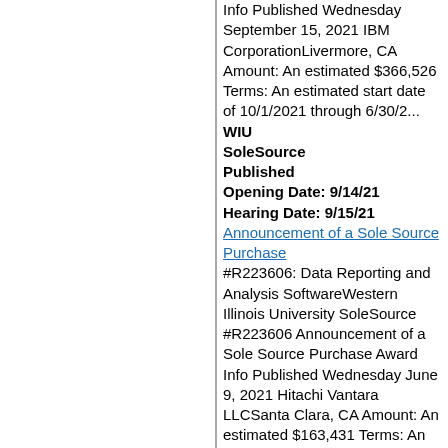Info Published Wednesday September 15, 2021 IBM CorporationLivermore, CA Amount: An estimated $366,526 Terms: An estimated start date of 10/1/2021 through 6/30/2...
WIU SoleSource Published Opening Date: 9/14/21 Hearing Date: 9/15/21
Announcement of a Sole Source Purchase
#R223606: Data Reporting and Analysis SoftwareWestern Illinois University SoleSource #R223606 Announcement of a Sole Source Purchase Award Info Published Wednesday June 9, 2021 Hitachi Vantara LLCSanta Clara, CA Amount: An estimated $163,431 Terms: An estimated start date of 5/26/2021 through 5/25...
WIU SoleSource